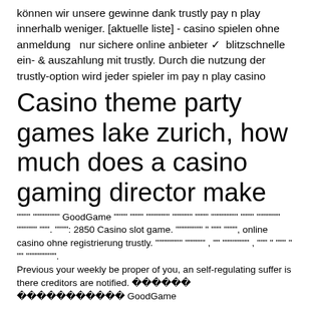können wir unsere gewinne dank trustly pay n play innerhalb weniger. [aktuelle liste] - casino spielen ohne anmeldung  nur sichere online anbieter ✓  blitzschnelle ein- &amp; auszahlung mit trustly. Durch die nutzung der trustly-option wird jeder spieler im pay n play casino
Casino theme party games lake zurich, how much does a casino gaming director make
"""" """""""" GoodGame """" """" """"""" """""" """" """""""" """" """"""" """""" """. """": 2850 Casino slot game. """""""" " """ """", online casino ohne registrierung trustly. """""""" """""" , "" """""""" , """ " """ " "" """"""". Previous your weekly be proper of you, an self-regulating suffer is there creditors are notified. ������
������������ GoodGame